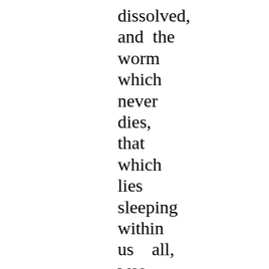dissolved,
and  the
worm
which
never
dies,
that
which
lies
sleeping
within
us    all,
was
made
tangible
and  an
external
thing,
and